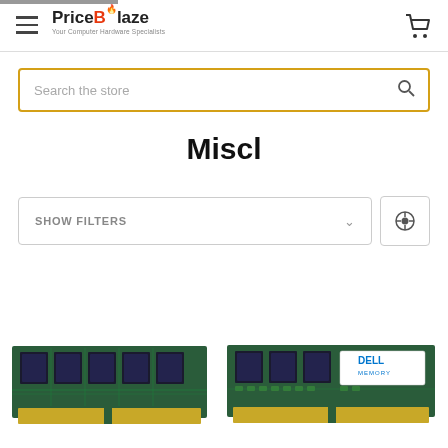PriceBlaze — Your Computer Hardware Specialists
Search the store
Miscl
SHOW FILTERS
[Figure (photo): Two RAM memory sticks: one generic green PCB, one with a Dell Memory label, both SDRAM/DIMM modules shown side by side]
[Figure (photo): Dell Memory RAM DIMM module with blue Dell Memory label sticker on green PCB]